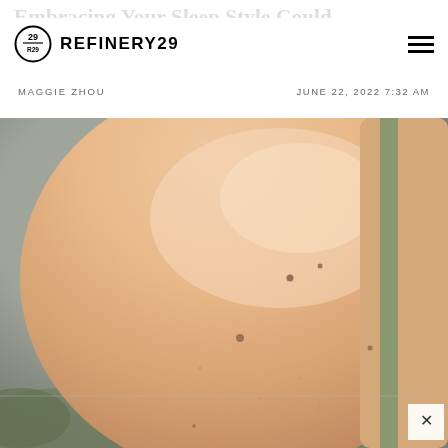REFINERY29
MAGGIE ZHOU
JUNE 22, 2022 7:32 AM
[Figure (photo): Close-up photograph of a person's bare shoulder and upper arm showing natural skin with small moles and texture, against a soft blurred background. A sage/olive green strap is visible on the right side.]